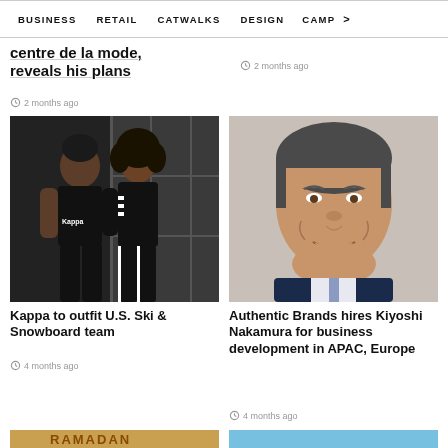BUSINESS   RETAIL   CATWALKS   DESIGN   CAMP >
…centre de la mode, reveals his plans
2 months ago
2 months ago
[Figure (photo): Two models in black Kappa sportswear posing in a locker room setting]
Kappa to outfit U.S. Ski & Snowboard team
4 months ago
[Figure (photo): Headshot of Kiyoshi Nakamura, a smiling Asian man in a navy suit]
Authentic Brands hires Kiyoshi Nakamura for business development in APAC, Europe
4 months ago
[Figure (photo): Partial bottom image left - shows RAMADAN text on decorative background]
[Figure (photo): Partial bottom image right - blue sky background]